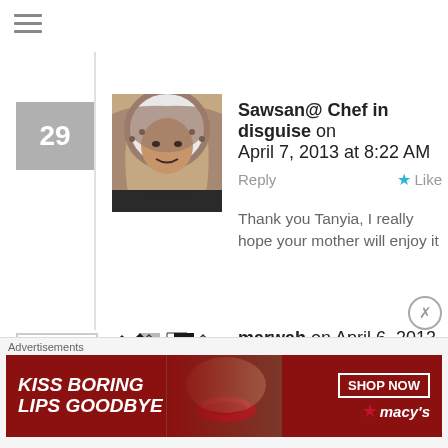[Figure (screenshot): Hamburger menu icon (three horizontal lines) at top left]
29
[Figure (photo): Profile photo of Sawsan — woman wearing a white headscarf with patterned trim and dark jacket]
Sawsan@ Chef in disguise on April 7, 2013 at 8:22 AM
Reply
Like
Thank you Tanyia, I really hope your mother will enjoy it
30
[Figure (illustration): Default avatar: geometric black and white diamond/triangle pattern]
marwah on April 6, 2013 at 8:27 PM
Reply
Like
salam aleyki sawsan.. i've tried two of your recipes; labneh and pita bread.. they were very successful.. when i need to a recipe
Advertisements
[Figure (photo): Macy's advertisement banner: red background with woman's face and lips, text 'KISS BORING LIPS GOODBYE', SHOP NOW button, Macy's logo with star]